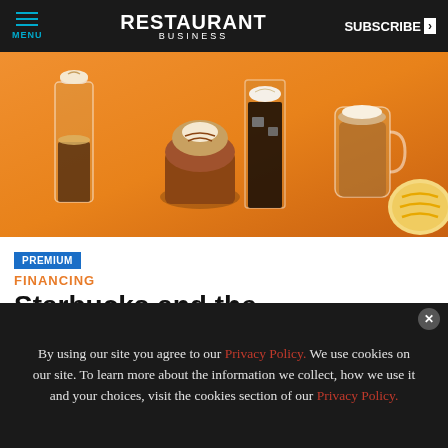MENU | RESTAURANT BUSINESS | SUBSCRIBE >
[Figure (photo): Hero image showing Starbucks drinks and pastries on an orange background — iced coffee drinks, a cupcake, a latte, and a cookie]
PREMIUM
FINANCING
Starbucks and the da
[Figure (other): FSTEC advertisement banner: SEPT. 19-21, 2022 | GAYLORD TEXAN, DALLAS, TX | FSTEC.COM with LEARN HERE button]
By using our site you agree to our Privacy Policy. We use cookies on our site. To learn more about the information we collect, how we use it and your choices, visit the cookies section of our Privacy Policy.